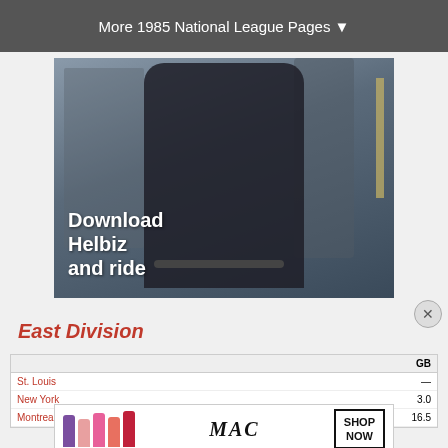More 1985 National League Pages ▼
[Figure (photo): Advertisement photo of a blonde woman on a scooter in a city, with text overlay: Download Helbiz and ride]
[Figure (photo): MAC cosmetics advertisement with lipsticks and SHOP NOW box]
East Division
|  |  |  |  | GB |
| --- | --- | --- | --- | --- |
| St. Louis |  |  |  | — |
| New York |  |  |  | 3.0 |
| Montreal Expos | 84 | 77 | .522 | 16.5 |